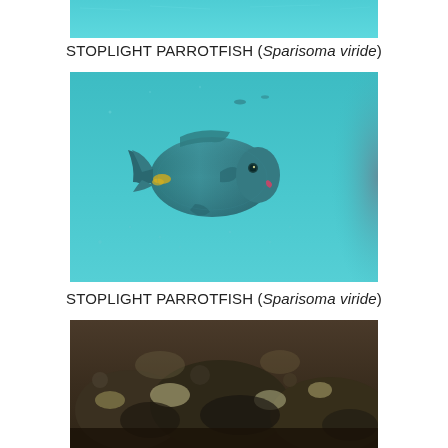[Figure (photo): Partial underwater photo showing turquoise water at the top of the page, cropped view]
STOPLIGHT PARROTFISH (Sparisoma viride)
[Figure (photo): Underwater photograph of a Stoplight Parrotfish (Sparisoma viride), a teal/green fish with yellow markings near its tail and a pink mouth, swimming in blue-green water]
STOPLIGHT PARROTFISH (Sparisoma viride)
[Figure (photo): Underwater photograph showing dark coral reef substrate with algae and encrusted rock formations]